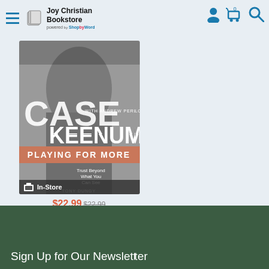Joy Christian Bookstore — powered by ShopByWord
[Figure (photo): Book cover: Case Keenum - Playing For More, with Tony Dungy foreword. Shows a man holding a football. In-Store badge overlay at bottom.]
$22.99 $22.99
Sign Up for Our Newsletter